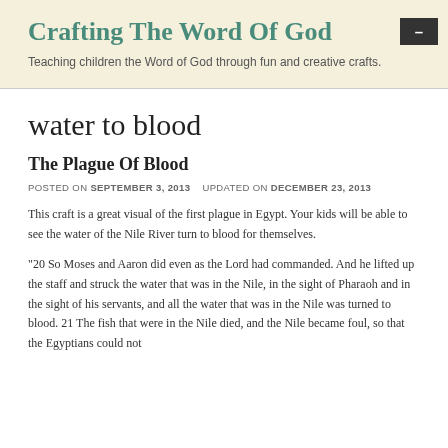Crafting The Word Of God
Teaching children the Word of God through fun and creative crafts.
water to blood
The Plague Of Blood
POSTED ON SEPTEMBER 3, 2013   UPDATED ON DECEMBER 23, 2013
This craft is a great visual of the first plague in Egypt. Your kids will be able to see the water of the Nile River turn to blood for themselves.
"20 So Moses and Aaron did even as the Lord had commanded. And he lifted up the staff and struck the water that was in the Nile, in the sight of Pharaoh and in the sight of his servants, and all the water that was in the Nile was turned to blood. 21 The fish that were in the Nile died, and the Nile became foul, so that the Egyptians could not